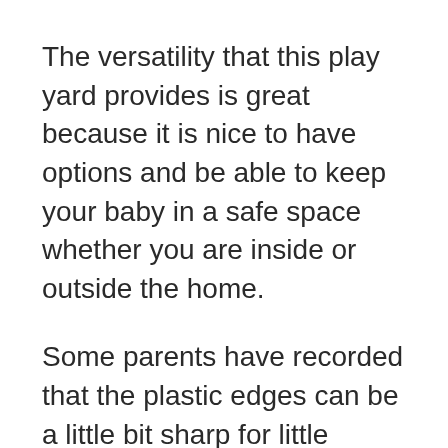The versatility that this play yard provides is great because it is nice to have options and be able to keep your baby in a safe space whether you are inside or outside the home.
Some parents have recorded that the plastic edges can be a little bit sharp for little fingers, so please be aware of this if you purchase this product. This is the case with many plastic gates and can be fixed by speaking with the manufacturer